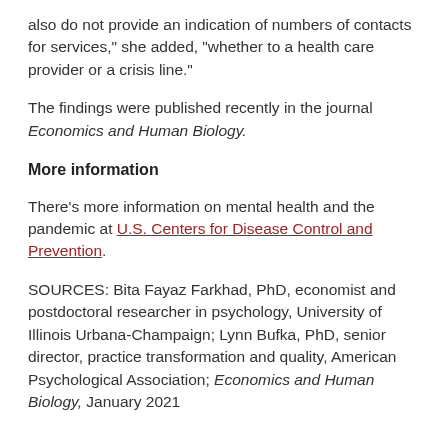also do not provide an indication of numbers of contacts for services," she added, "whether to a health care provider or a crisis line."
The findings were published recently in the journal Economics and Human Biology.
More information
There's more information on mental health and the pandemic at U.S. Centers for Disease Control and Prevention.
SOURCES: Bita Fayaz Farkhad, PhD, economist and postdoctoral researcher in psychology, University of Illinois Urbana-Champaign; Lynn Bufka, PhD, senior director, practice transformation and quality, American Psychological Association; Economics and Human Biology, January 2021